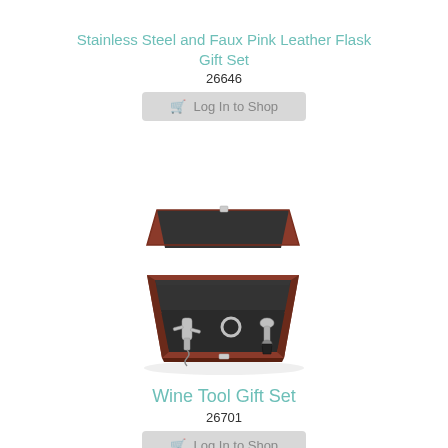Stainless Steel and Faux Pink Leather Flask Gift Set
26646
[Figure (other): Gray 'Log In to Shop' button with shopping cart icon]
[Figure (photo): Open wooden gift box with dark foam interior containing wine tools: corkscrew, bottle stopper, and wine ring]
Wine Tool Gift Set
26701
[Figure (other): Gray 'Log In to Shop' button with shopping cart icon]